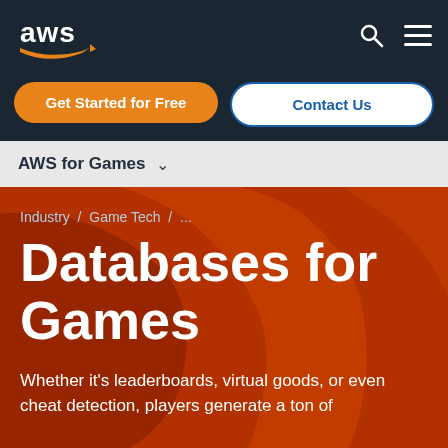[Figure (logo): AWS logo with orange arrow swoosh on dark navy background]
Get Started for Free
Contact Us
AWS for Games
Industry / Game Tech / ...
Databases for Games
Whether it's leaderboards, virtual goods, or even cheat detection, players generate a ton of data that needs to be stored and retrieved.